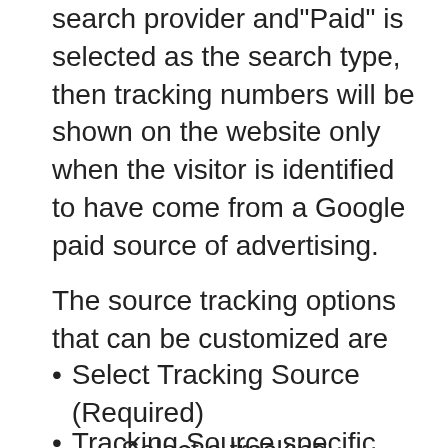search provider and"Paid" is selected as the search type, then tracking numbers will be shown on the website only when the visitor is identified to have come from a Google paid source of advertising.
The source tracking options that can be customized are
Select Tracking Source (Required) - Select a tracking source based on where the visitors are coming from.
Tracking Source specific options